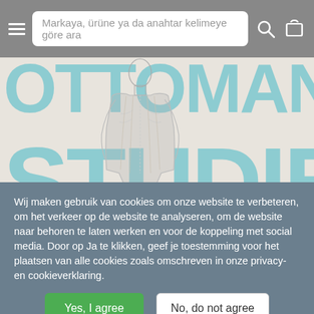[Figure (screenshot): Mobile website navigation bar with hamburger menu, search input field with placeholder text in Turkish, search icon, and cart icon on grey background]
[Figure (illustration): Book cover showing large teal/light blue bold text reading partial words (OTTOMAN STUDIES) with an anatomical illustration of a human figure overlaid on a light beige background]
Wij maken gebruik van cookies om onze website te verbeteren, om het verkeer op de website te analyseren, om de website naar behoren te laten werken en voor de koppeling met social media. Door op Ja te klikken, geef je toestemming voor het plaatsen van alle cookies zoals omschreven in onze privacy- en cookieverklaring.
Yes, I agree
No, do not agree